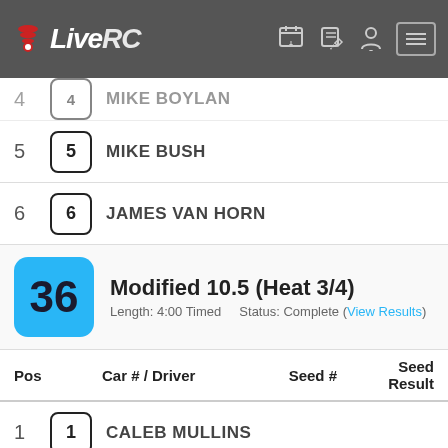LiveRC
4 - MIKE BOYLAN (partial)
5 - 5 - MIKE BUSH
6 - 6 - JAMES VAN HORN
36 Modified 10.5 (Heat 3/4) Length: 4:00 Timed Status: Complete (View Results)
| Pos | Car # / Driver | Seed # | Seed Result |
| --- | --- | --- | --- |
| 1 | 1 - CALEB MULLINS |  |  |
| 2 | 2 - DOMINIC RUGGIERE |  |  |
| 3 | 3 - NICK BELL |  |  |
| 4 | 4 - JIM GLASGOW |  |  |